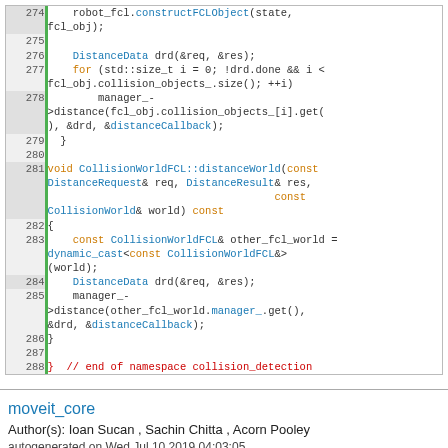[Figure (screenshot): Code block showing C++ source lines 274-289 of CollisionWorldFCL::distanceWorld function and namespace collision_detection closing brace]
moveit_core
Author(s): Ioan Sucan , Sachin Chitta , Acorn Pooley
autogenerated on Wed Jul 10 2019 04:03:05